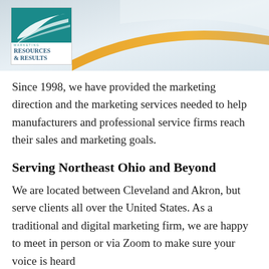[Figure (logo): Marketing Resources & Results company logo with teal swoosh graphic and gold arc banner on light blue-grey background]
Since 1998, we have provided the marketing direction and the marketing services needed to help manufacturers and professional service firms reach their sales and marketing goals.
Serving Northeast Ohio and Beyond
We are located between Cleveland and Akron, but serve clients all over the United States. As a traditional and digital marketing firm, we are happy to meet in person or via Zoom to make sure your voice is heard